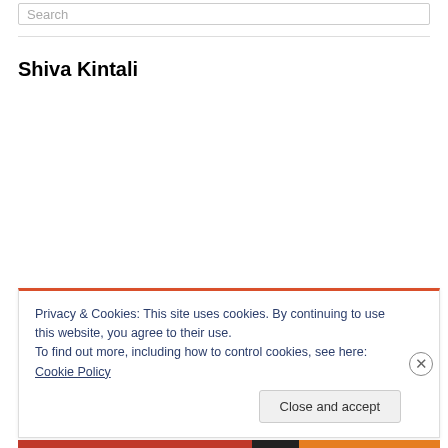Search
Shiva Kintali
Privacy & Cookies: This site uses cookies. By continuing to use this website, you agree to their use.
To find out more, including how to control cookies, see here: Cookie Policy
Close and accept